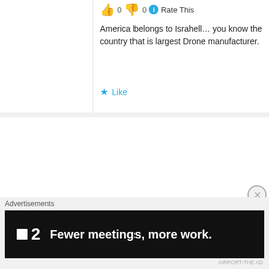0  0  Rate This
America belongs to Israhell… you know the country that is largest Drone manufacturer.
Like
Akhil
February 28, 2016 • 7:39 am
0  5  Rate This
If the bank really wants to pay the people ,it could definitely do that with the amount of profits it makes.
What,all the 217banks couldnt even be able to pay the 280m USD ?
Advertisements
[Figure (other): Advertisement banner: dark background with logo '2' and text 'Fewer meetings, more work.']